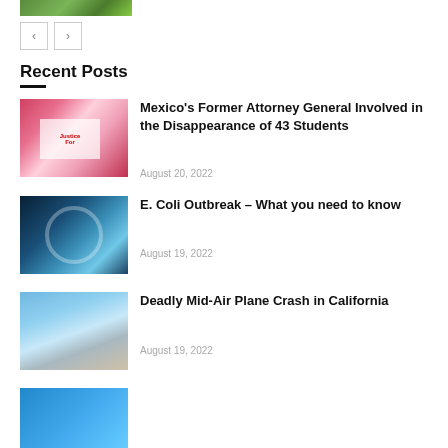[Figure (photo): Partial top image, green outdoor scene]
< navigation buttons (prev/next)
Recent Posts
[Figure (photo): Protest signs, Justice for Ayotzinapa]
Mexico's Former Attorney General Involved in the Disappearance of 43 Students
August 20, 2022
[Figure (photo): Aerial view of circular island resort with turquoise water]
E. Coli Outbreak – What you need to know
August 19, 2022
[Figure (photo): People standing near dark building on sandy beach under blue sky]
Deadly Mid-Air Plane Crash in California
August 19, 2022
[Figure (photo): Partial fourth post image (blue tones)]